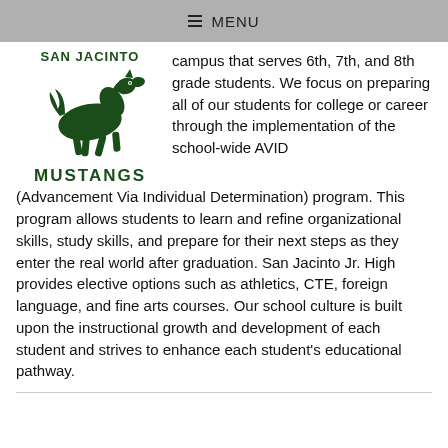≡ MENU
[Figure (logo): San Jacinto Mustangs logo with a running dark green horse and the text SAN JACINTO above and MUSTANGS below]
campus that serves 6th, 7th, and 8th grade students. We focus on preparing all of our students for college or career through the implementation of the school-wide AVID (Advancement Via Individual Determination) program. This program allows students to learn and refine organizational skills, study skills, and prepare for their next steps as they enter the real world after graduation. San Jacinto Jr. High provides elective options such as athletics, CTE, foreign language, and fine arts courses. Our school culture is built upon the instructional growth and development of each student and strives to enhance each student's educational pathway.